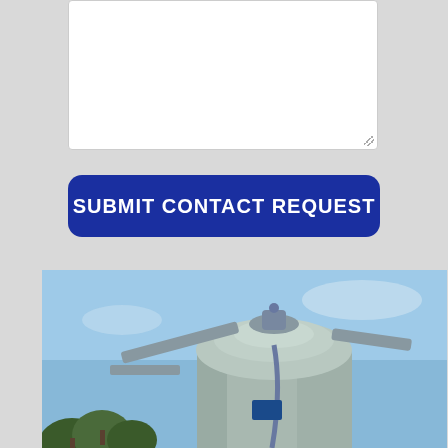[Figure (screenshot): White textarea input box with resize handle in bottom right corner]
[Figure (screenshot): Dark blue rounded rectangle Submit Contact Request button with white bold uppercase text]
[Figure (photo): Photo of a large gray industrial water/pressure tank or silo structure against a blue sky, with trees visible at bottom left]